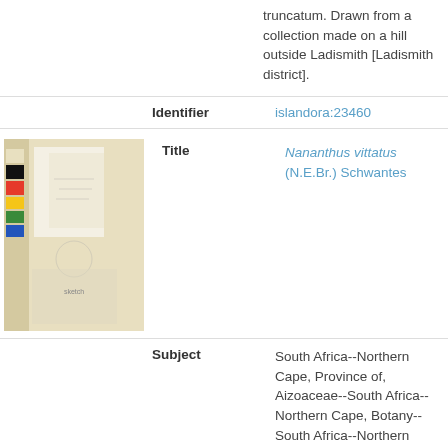truncatum. Drawn from a collection made on a hill outside Ladismith [Ladismith district].
Identifier
islandora:23460
[Figure (photo): Thumbnail image of a botanical illustration pencil sketch of Nananthus vittatus with color calibration strip on left side]
Title
Nananthus vittatus (N.E.Br.) Schwantes
Subject
South Africa--Northern Cape, Province of, Aizoaceae--South Africa--Northern Cape, Botany--South Africa--Northern Cape--Pictorial works, Vygie
Description
Botanical illustration - pencil sketch - Nananthus vittatus (N.E.Br.) Schwantes. Drawn from a collection made near Postmasburg [Postmasburg District] by E.G. Bryant.
Identifier
islandora:24296